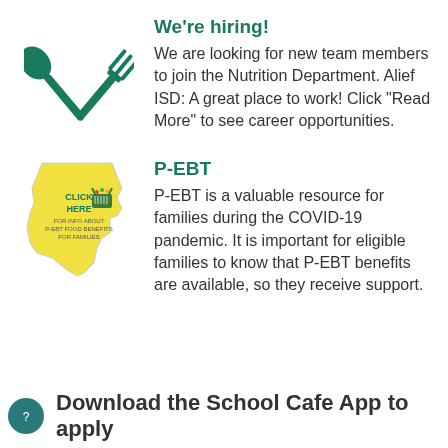[Figure (illustration): Green crossed spoon and fork icon]
We're hiring!
We are looking for new team members to join the Nutrition Department. Alief ISD: A great place to work! Click "Read More" to see career opportunities.
[Figure (illustration): Yellow Texas state shape with 'CLICK HERE FOR INFO ABOUT P-EBT FOOD BENEFITS FOR FAMILIES' text and grocery basket graphic]
P-EBT
P-EBT is a valuable resource for families during the COVID-19 pandemic. It is important for eligible families to know that P-EBT benefits are available, so they receive support.
Download the School Cafe App to apply